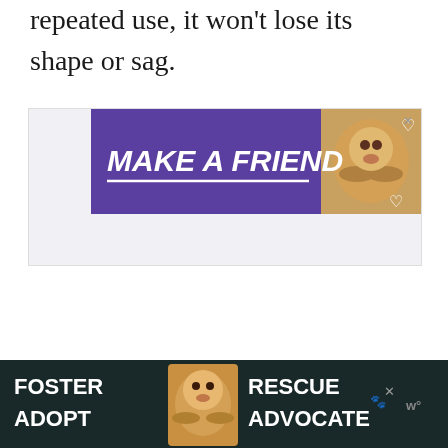repeated use, it won't lose its shape or sag.
[Figure (illustration): Purple advertisement banner reading 'MAKE A FRIEND' in bold italic white text with a dog image on the right and heart icons, with a close X button]
[Figure (illustration): Dark teal bottom banner advertisement with 'FOSTER ADOPT' on the left, a beagle dog photo in the center, 'RESCUE ADVOCATE' on the right, paw and close icons, and a 'w°' Webby logo on the far right]